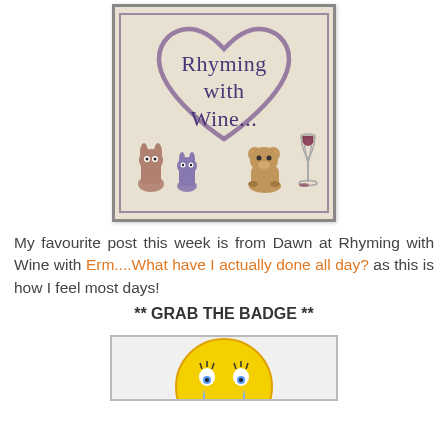[Figure (illustration): Blog badge for 'Rhyming with Wine' featuring a heart outline, two small monster/rabbit characters on the left, and a teddy bear sitting next to a wine glass on the right, on a beige/cream background with double border frame.]
My favourite post this week is from Dawn at Rhyming with Wine with Erm....What have I actually done all day? as this is how I feel most days!
** GRAB THE BADGE **
[Figure (illustration): Yellow smiley face emoji with crying/sad eyes, partially visible at the bottom of the page.]